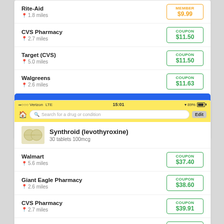[Figure (screenshot): Top portion of a pharmacy price comparison app showing Rite-Aid, CVS Pharmacy, Target (CVS), Walgreens pharmacy listings with prices and an Add to My Rx button]
[Figure (screenshot): Bottom portion of pharmacy price comparison app showing Synthroid (levothyroxine) 30 tablets 100mcg with prices at Walmart, Giant Eagle Pharmacy, CVS Pharmacy, Target (CVS), and Walgreens]